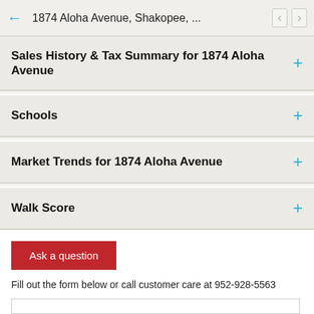1874 Aloha Avenue, Shakopee, ...
Sales History & Tax Summary for 1874 Aloha Avenue
Schools
Market Trends for 1874 Aloha Avenue
Walk Score
Ask a question
Fill out the form below or call customer care at 952-928-5563